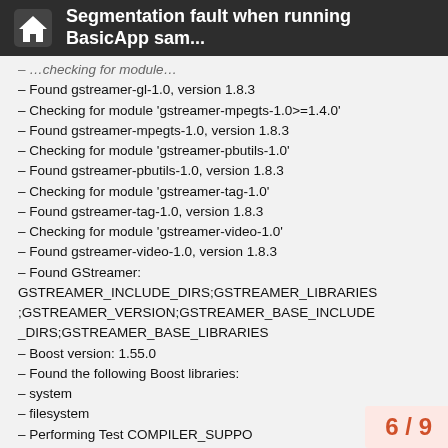Segmentation fault when running BasicApp sam...
– Found gstreamer-gl-1.0, version 1.8.3
– Checking for module 'gstreamer-mpegts-1.0>=1.4.0'
– Found gstreamer-mpegts-1.0, version 1.8.3
– Checking for module 'gstreamer-pbutils-1.0'
– Found gstreamer-pbutils-1.0, version 1.8.3
– Checking for module 'gstreamer-tag-1.0'
– Found gstreamer-tag-1.0, version 1.8.3
– Checking for module 'gstreamer-video-1.0'
– Found gstreamer-video-1.0, version 1.8.3
– Found GStreamer: GSTREAMER_INCLUDE_DIRS;GSTREAMER_LIBRARIES;GSTREAMER_VERSION;GSTREAMER_BASE_INCLUDE_DIRS;GSTREAMER_BASE_LIBRARIES
– Boost version: 1.55.0
– Found the following Boost libraries:
– system
– filesystem
– Performing Test COMPILER_SUPPO
– Performing Test COMPILER_SUPPO
6 / 9